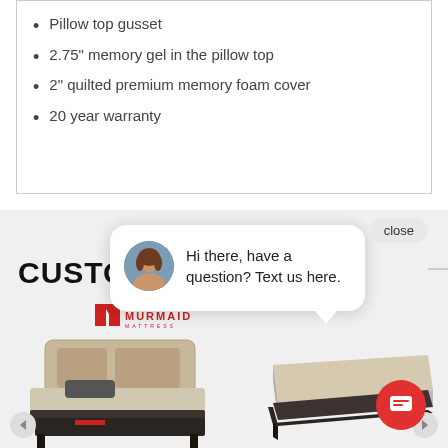Pillow top gusset
2.75" memory gel in the pillow top
2" quilted premium memory foam cover
20 year warranty
CUSTOM
[Figure (screenshot): Chat popup overlay with avatar photo of a woman and text: Hi there, have a question? Text us here. A close button and a red chat icon button are visible.]
[Figure (logo): Murmaid Mattress logo in red]
[Figure (photo): Two mattress product photos side by side on a gray background]